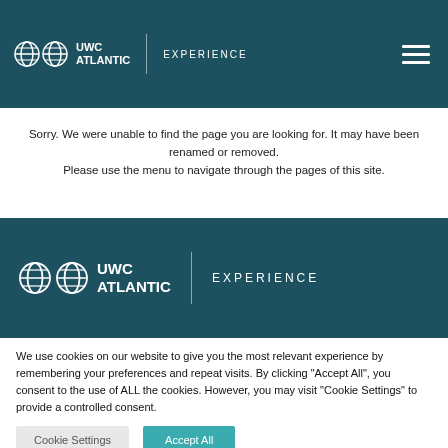Page not found
[Figure (logo): UWC Atlantic Experience logo in header navigation bar with hamburger menu icon]
Sorry. We were unable to find the page you are looking for. It may have been renamed or removed.
Please use the menu to navigate through the pages of this site.
[Figure (logo): UWC Atlantic Experience logo in footer section]
We use cookies on our website to give you the most relevant experience by remembering your preferences and repeat visits. By clicking "Accept All", you consent to the use of ALL the cookies. However, you may visit "Cookie Settings" to provide a controlled consent.
Cookie Settings   Accept All